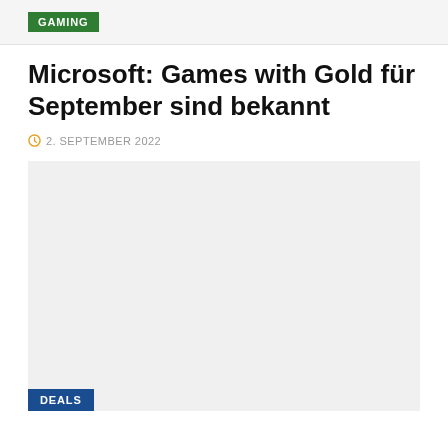GAMING
Microsoft: Games with Gold für September sind bekannt
2. SEPTEMBER 2022
[Figure (photo): Large image placeholder area with light grey background and a DEALS badge in the bottom-left corner]